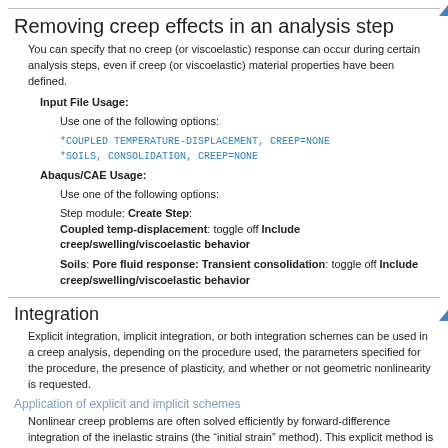Removing creep effects in an analysis step
You can specify that no creep (or viscoelastic) response can occur during certain analysis steps, even if creep (or viscoelastic) material properties have been defined.
Input File Usage:
Use one of the following options:
*COUPLED TEMPERATURE-DISPLACEMENT, CREEP=NONE
*SOILS, CONSOLIDATION, CREEP=NONE
Abaqus/CAE Usage:
Use one of the following options:
Step module: Create Step:
Coupled temp-displacement: toggle off Include creep/swelling/viscoelastic behavior
Soils: Pore fluid response: Transient consolidation: toggle off Include creep/swelling/viscoelastic behavior
Integration
Explicit integration, implicit integration, or both integration schemes can be used in a creep analysis, depending on the procedure used, the parameters specified for the procedure, the presence of plasticity, and whether or not geometric nonlinearity is requested.
Application of explicit and implicit schemes
Nonlinear creep problems are often solved efficiently by forward-difference integration of the inelastic strains (the “initial strain” method). This explicit method is computationally efficient because, unlike implicit methods, iteration is not required. Although this method is only conditionally stable, the numerical stability limit of the